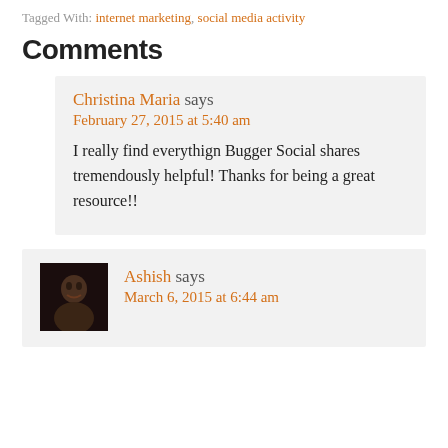Tagged With: internet marketing, social media activity
Comments
Christina Maria says
February 27, 2015 at 5:40 am
I really find everythign Bugger Social shares tremendously helpful! Thanks for being a great resource!!
Ashish says
March 6, 2015 at 6:44 am